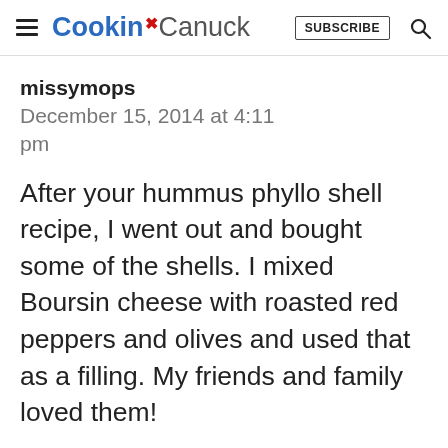Cookin Canuck | SUBSCRIBE
missymops
December 15, 2014 at 4:11 pm
After your hummus phyllo shell recipe, I went out and bought some of the shells. I mixed Boursin cheese with roasted red peppers and olives and used that as a filling. My friends and family loved them!